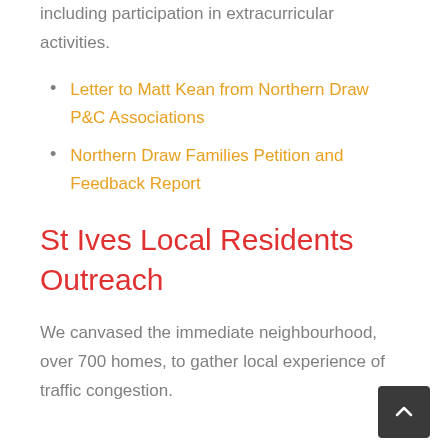including participation in extracurricular activities.
Letter to Matt Kean from Northern Draw P&C Associations
Northern Draw Families Petition and Feedback Report
St Ives Local Residents Outreach
We canvased the immediate neighbourhood, over 700 homes, to gather local experience of traffic congestion.